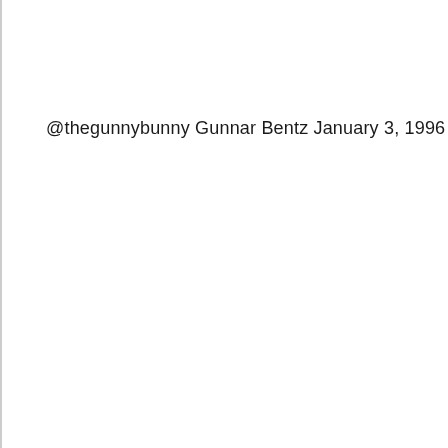@thegunnybunny Gunnar Bentz January 3, 1996 USA –